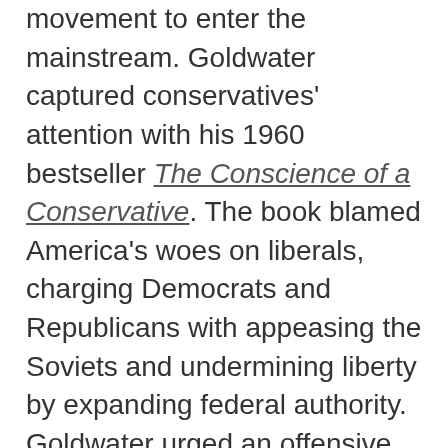Goldwater provided the first opportunity for this movement to enter the mainstream. Goldwater captured conservatives' attention with his 1960 bestseller The Conscience of a Conservative. The book blamed America's woes on liberals, charging Democrats and Republicans with appeasing the Soviets and undermining liberty by expanding federal authority. Goldwater urged an offensive war against the Soviets, while leaving many domestic policy questions to the states. He did not believe in conspiracy theories. But his combative message rallied the far-right behind him. He faced a choice: disavow the paranoid right or embrace them and accept their grassroots support.
This dilemma centered on the place of the John Birch Society within conservatism. The Birchers